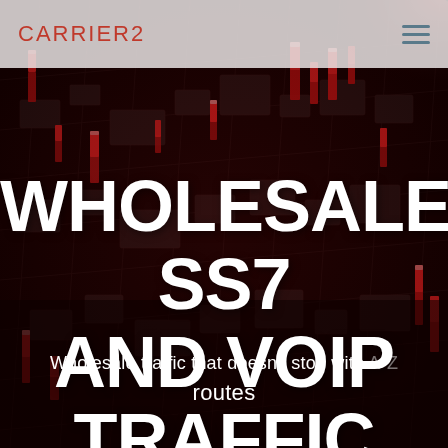[Figure (photo): Dark red-tinted aerial/isometric view of a circuit board or futuristic city with glowing red vertical elements, serving as background image]
CARRIER2
WHOLESALE SS7 AND VOIP TRAFFIC
Wholesale traffic that doesn't stop with A4Z routes